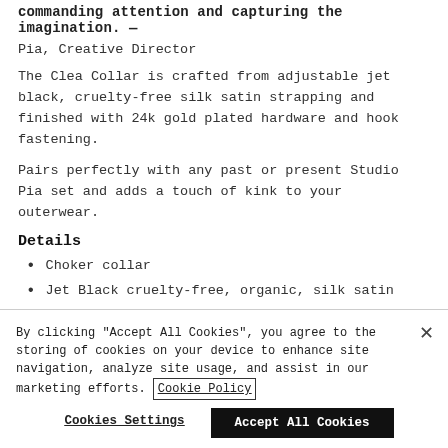commanding attention and capturing the imagination. — Pia, Creative Director
The Clea Collar is crafted from adjustable jet black, cruelty-free silk satin strapping and finished with 24k gold plated hardware and hook fastening.
Pairs perfectly with any past or present Studio Pia set and adds a touch of kink to your outerwear.
Details
Choker collar
Jet Black cruelty-free, organic, silk satin
Statement central detail
By clicking "Accept All Cookies", you agree to the storing of cookies on your device to enhance site navigation, analyze site usage, and assist in our marketing efforts. Cookie Policy
Cookies Settings
Accept All Cookies